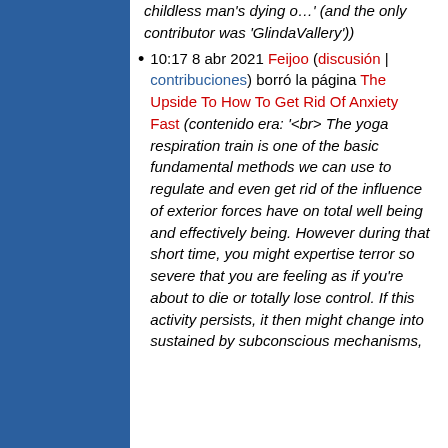childless man's dying o…' (and the only contributor was 'GlindaVallery'))
10:17 8 abr 2021 Feijoo (discusión | contribuciones) borró la página The Upside To How To Get Rid Of Anxiety Fast (contenido era: '<br> The yoga respiration train is one of the basic fundamental methods we can use to regulate and even get rid of the influence of exterior forces have on total well being and effectively being. However during that short time, you might expertise terror so severe that you are feeling as if you're about to die or totally lose control. If this activity persists, it then might change into sustained by subconscious mechanisms,